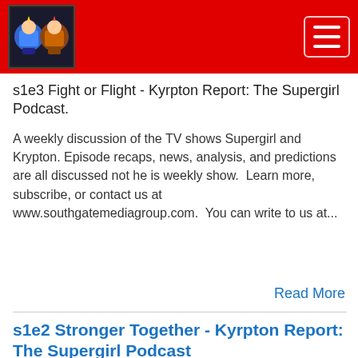[Figure (logo): Website logo with cartoon characters on red navigation bar, with hamburger menu button]
s1e3 Fight or Flight - Kyrpton Report: The Supergirl Podcast.
A weekly discussion of the TV shows Supergirl and Krypton. Episode recaps, news, analysis, and predictions are all discussed not he is weekly show.  Learn more, subscribe, or contact us at www.southgatemediagroup.com.  You can write to us at...
Read More
s1e2 Stronger Together - Kyrpton Report: The Supergirl Podcast
[Figure (screenshot): Podcast player card showing KRYPTON REPORT: THE ALL THINGS KRYPTONIAN PODCAST label and s1e2 Stronger Together - Kyrpton Report: The ... title with play button]